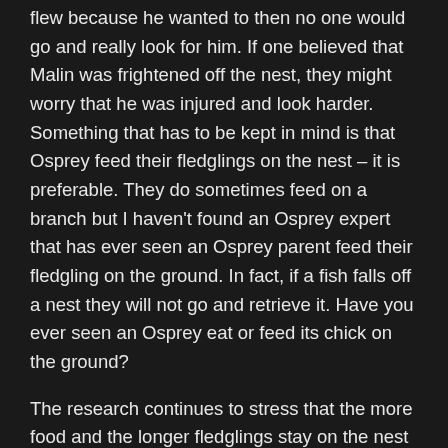flew because he wanted to then no one would go and really look for him. If one believed that Malin was frightened off the nest, they might worry that he was injured and look harder. Something that has to be kept in mind is that Osprey feed their fledglings on the nest – it is preferable. They do sometimes feed on a branch but I haven't found an Osprey expert that has ever seen an Osprey parent feed their fledgling on the ground. In fact, if a fish falls off a nest they will not go and retrieve it. Have you ever seen an Osprey eat or feed its chick on the ground?
The research continues to stress that the more food and the longer fledglings stay on the nest the higher the success rate. That is the reality. This nest is really empty. Malin defied the odds – he survived and thrived. We hope that the name we gave him carries him on into his life and that he is somewhere safe eating a fish.